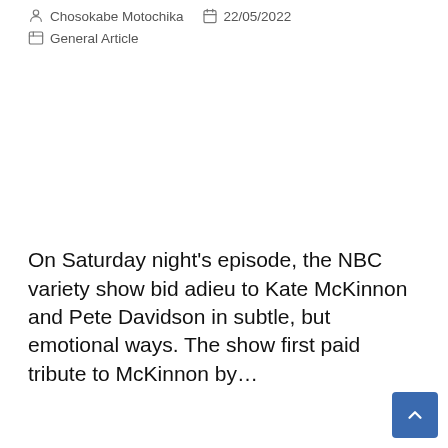Chosokabe Motochika  22/05/2022  General Article
On Saturday night's episode, the NBC variety show bid adieu to Kate McKinnon and Pete Davidson in subtle, but emotional ways. The show first paid tribute to McKinnon by...